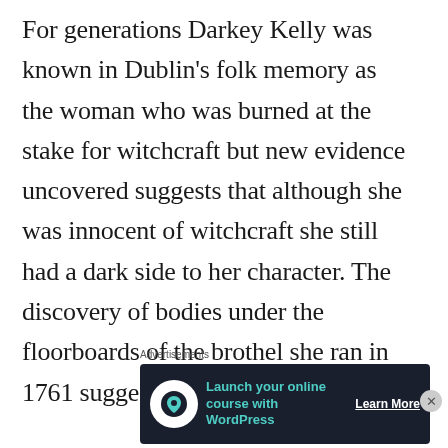For generations Darkey Kelly was known in Dublin's folk memory as the woman who was burned at the stake for witchcraft but new evidence uncovered suggests that although she was innocent of witchcraft she still had a dark side to her character. The discovery of bodies under the floorboards of the brothel she ran in 1761 suggests she may have been
Advertisements
[Figure (other): Advertisement banner with dark background showing 'Launch your online course with WordPress' with a WordPress-style icon and 'Learn More' call to action button]